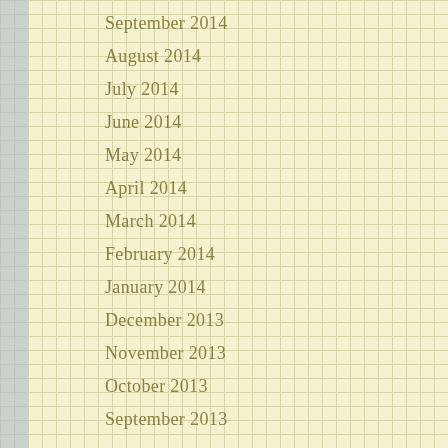September 2014
August 2014
July 2014
June 2014
May 2014
April 2014
March 2014
February 2014
January 2014
December 2013
November 2013
October 2013
September 2013